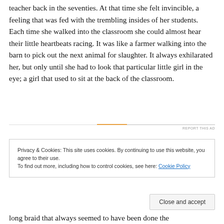teacher back in the seventies. At that time she felt invincible, a feeling that was fed with the trembling insides of her students. Each time she walked into the classroom she could almost hear their little heartbeats racing. It was like a farmer walking into the barn to pick out the next animal for slaughter. It always exhilarated her, but only until she had to look that particular little girl in the eye; a girl that used to sit at the back of the classroom.
[Figure (other): Ad divider line with orange accent and 'REPORT THIS AD' label]
Privacy & Cookies: This site uses cookies. By continuing to use this website, you agree to their use. To find out more, including how to control cookies, see here: Cookie Policy
Close and accept
long braid that always seemed to have been done the